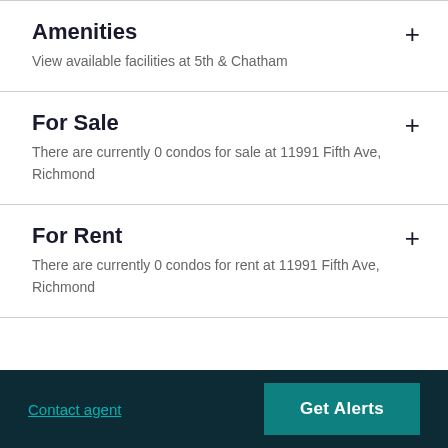Amenities
View available facilities at 5th & Chatham
For Sale
There are currently 0 condos for sale at 11991 Fifth Ave, Richmond
For Rent
There are currently 0 condos for rent at 11991 Fifth Ave, Richmond
Contact agent | Get Alerts